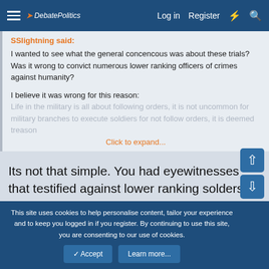DebatePolitics — Log in  Register
SSlightning said:
I wanted to see what the general concencous was about these trials? Was it wrong to convict numerous lower ranking officers of crimes against humanity?

I believe it was wrong for this reason:
Life in the military is all about following orders, it is not uncommon for military branches to execute soldiers for not follow orders, it is deemed treason
Click to expand...
Its not that simple. You had eyewitnesses that testified against lower ranking solders who raped and killed civilians without any orders.
This site uses cookies to help personalise content, tailor your experience and to keep you logged in if you register.
By continuing to use this site, you are consenting to our use of cookies.